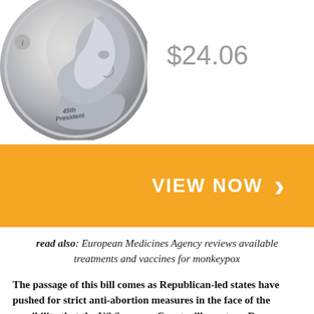[Figure (photo): Silver coin showing a presidential portrait with '45th President' inscription, partially cropped at top.]
$24.06
[Figure (other): Orange banner with 'VIEW NOW >' button text in white.]
read also: European Medicines Agency reviews available treatments and vaccines for monkeypox
The passage of this bill comes as Republican-led states have pushed for strict anti-abortion measures in the face of the possibility that the US Supreme Court will overturn Roe v. Wade next month, in a case related to a Mississippi abortion law. Although many states have anti-